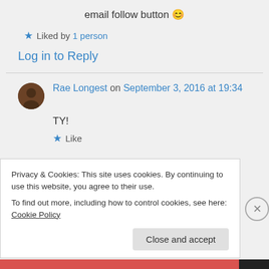email follow button 😊
★ Liked by 1 person
Log in to Reply
Rae Longest on September 3, 2016 at 19:34
TY!
★ Like
Privacy & Cookies: This site uses cookies. By continuing to use this website, you agree to their use.
To find out more, including how to control cookies, see here: Cookie Policy
Close and accept